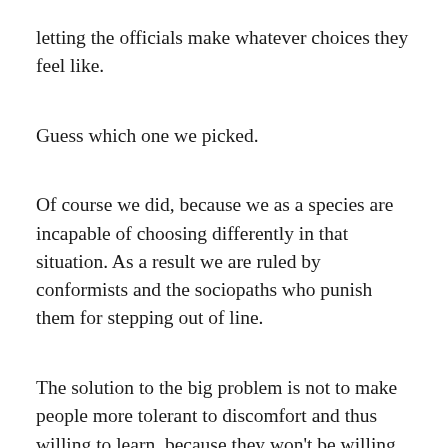letting the officials make whatever choices they feel like.
Guess which one we picked.
Of course we did, because we as a species are incapable of choosing differently in that situation. As a result we are ruled by conformists and the sociopaths who punish them for stepping out of line.
The solution to the big problem is not to make people more tolerant to discomfort and thus willing to learn, because they won't be willing or able to learn as much as they need anyway. The solution is to take away the government power that voting citizens are unable to control at the best of times, and periodically employ in homicidal fits like a monkey with a minigun.
You can't give in to everyone else's desire, even if